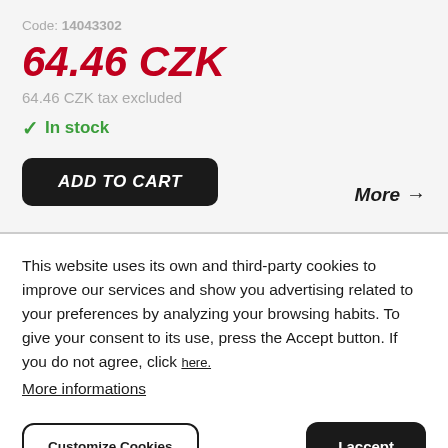Code: 14043302
64.46 CZK
64.46 CZK tax excluded
✓ In stock
ADD TO CART
More →
This website uses its own and third-party cookies to improve our services and show you advertising related to your preferences by analyzing your browsing habits. To give your consent to its use, press the Accept button. If you do not agree, click here.
More informations
Customize Cookies
I accept